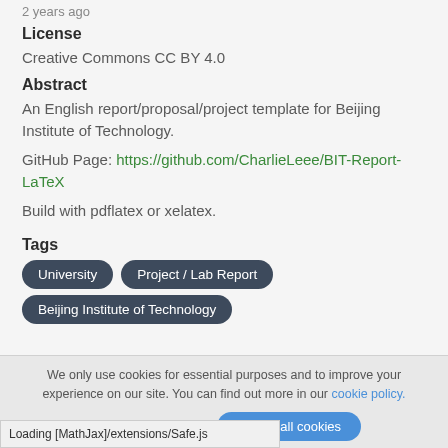2 years ago
License
Creative Commons CC BY 4.0
Abstract
An English report/proposal/project template for Beijing Institute of Technology.
GitHub Page: https://github.com/CharlieLeee/BIT-Report-LaTeX
Build with pdflatex or xelatex.
Tags
University
Project / Lab Report
Beijing Institute of Technology
We only use cookies for essential purposes and to improve your experience on our site. You can find out more in our cookie policy.
Essential cookies only   Accept all cookies
Loading [MathJax]/extensions/Safe.js